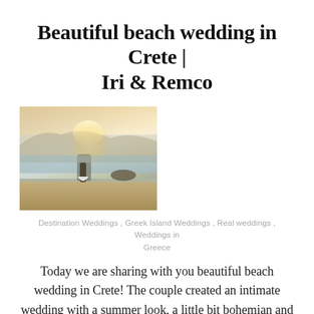Beautiful beach wedding in Crete | Iri & Remco
[Figure (photo): A couple on a beach at sunset with mountains and sea in the background, Crete.]
Destination Weddings , Greek Island Weddings , Real weddings , Weddings in Greece
Today we are sharing with you beautiful beach wedding in Crete! The couple created an intimate wedding with a summer look, a little bit bohemian and modern. The colors used were mostly turquoise, purple and white. The couple celebrated their love with their guests with music, drinks, dance and lots of fun! You are going to absolutely fall in